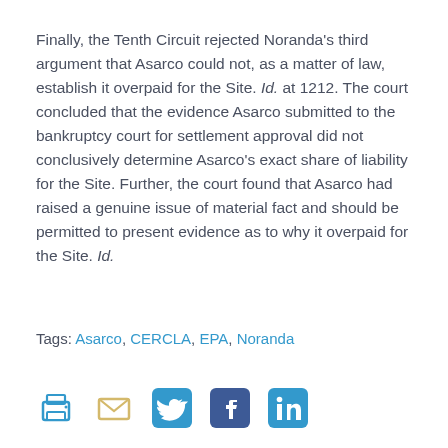Finally, the Tenth Circuit rejected Noranda's third argument that Asarco could not, as a matter of law, establish it overpaid for the Site. Id. at 1212. The court concluded that the evidence Asarco submitted to the bankruptcy court for settlement approval did not conclusively determine Asarco's exact share of liability for the Site. Further, the court found that Asarco had raised a genuine issue of material fact and should be permitted to present evidence as to why it overpaid for the Site. Id.
Tags: Asarco, CERCLA, EPA, Noranda
[Figure (other): Social sharing icons: print, email, Twitter, Facebook, LinkedIn]